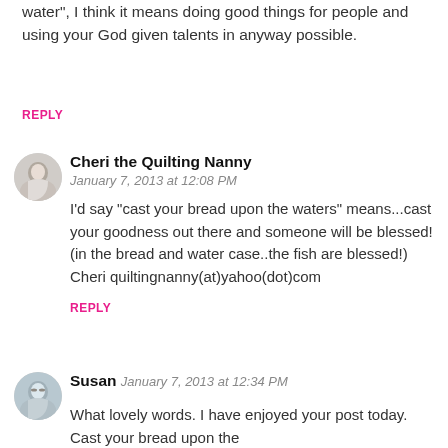water", I think it means doing good things for people and using your God given talents in anyway possible.
REPLY
[Figure (photo): Avatar image of Cheri the Quilting Nanny, a woman in light clothing]
Cheri the Quilting Nanny
January 7, 2013 at 12:08 PM
I'd say "cast your bread upon the waters" means...cast your goodness out there and someone will be blessed! (in the bread and water case..the fish are blessed!) Cheri quiltingnanny(at)yahoo(dot)com
REPLY
[Figure (photo): Avatar image of Susan, a woman with glasses]
Susan  January 7, 2013 at 12:34 PM
What lovely words. I have enjoyed your post today. Cast your bread upon the